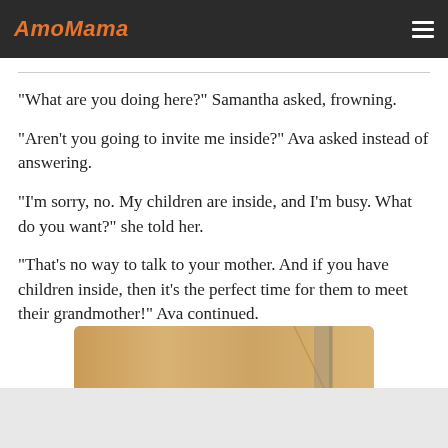AmoMama
“What are you doing here?” Samantha asked, frowning.
“Aren’t you going to invite me inside?” Ava asked instead of answering.
“I’m sorry, no. My children are inside, and I’m busy. What do you want?” she told her.
“That’s no way to talk to your mother. And if you have children inside, then it’s the perfect time for them to meet their grandmother!” Ava continued.
[Figure (photo): Partial view of a wooden surface with objects, warm tones, image cropped at bottom of page.]